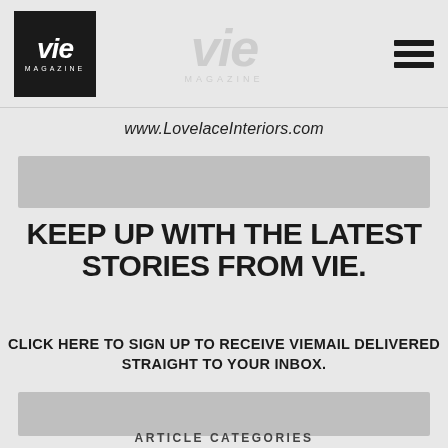[Figure (logo): VIE Magazine logo — white text on black square background with 'VIE' in bold italic and 'MAGAZINE' in small caps below]
[Figure (logo): Faded VIE Magazine watermark in center of header]
[Figure (other): Hamburger menu icon — three horizontal black bars]
www.LovelaceInteriors.com
[Figure (other): Gray rectangular button/banner area]
KEEP UP WITH THE LATEST STORIES FROM VIE.
CLICK HERE TO SIGN UP TO RECEIVE VIEMAIL DELIVERED STRAIGHT TO YOUR INBOX.
[Figure (other): Email input field gray rectangle]
ARTICLE CATEGORIES